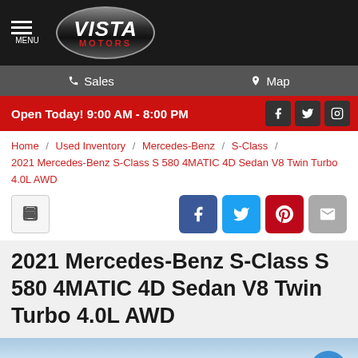Vista Motors
Sales   Map
Open Today! 9:00 AM - 8:00 PM
Home / Used Inventory / Mercedes-Benz / S-Class / 2021 Mercedes-Benz S-Class S 580 4MATIC 4D Sedan V8 Twin Turbo 4.0L AWD
2021 Mercedes-Benz S-Class S 580 4MATIC 4D Sedan V8 Twin Turbo 4.0L AWD
[Figure (photo): Photo of a 2021 Mercedes-Benz S-Class S 580, dark colored sedan, partially visible at the bottom of the page]